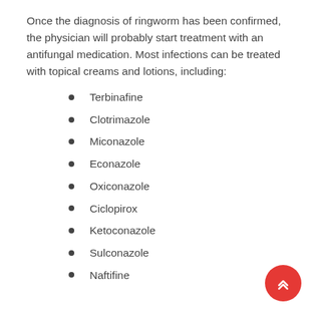Once the diagnosis of ringworm has been confirmed, the physician will probably start treatment with an antifungal medication. Most infections can be treated with topical creams and lotions, including:
Terbinafine
Clotrimazole
Miconazole
Econazole
Oxiconazole
Ciclopirox
Ketoconazole
Sulconazole
Naftifine